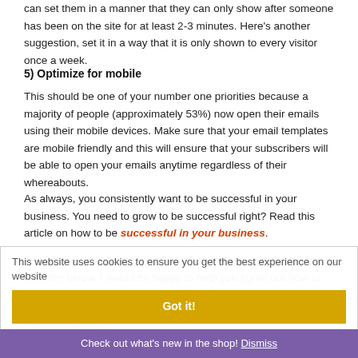can set them in a manner that they can only show after someone has been on the site for at least 2-3 minutes. Here's another suggestion, set it in a way that it is only shown to every visitor once a week.
5) Optimize for mobile
This should be one of your number one priorities because a majority of people (approximately 53%) now open their emails using their mobile devices. Make sure that your email templates are mobile friendly and this will ensure that your subscribers will be able to open your emails anytime regardless of their whereabouts.
As always, you consistently want to be successful in your business. You need to grow to be successful right? Read this article on how to be successful in your business.
If you have more questions about how to do this, please fill out the form below. I would be happy to help you figure out how to do this in your business.
Name (required)
This website uses cookies to ensure you get the best experience on our website
Check out what's new in the shop! Dismiss